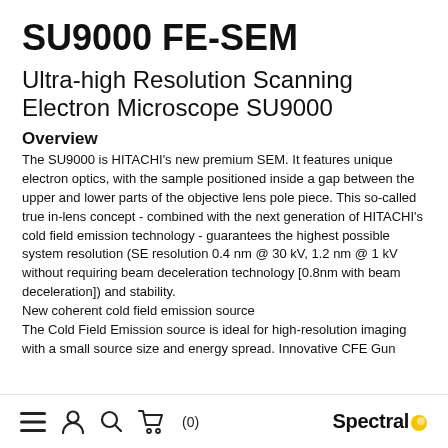SU9000 FE-SEM
Ultra-high Resolution Scanning Electron Microscope SU9000
Overview
The SU9000 is HITACHI's new premium SEM. It features unique electron optics, with the sample positioned inside a gap between the upper and lower parts of the objective lens pole piece. This so-called true in-lens concept - combined with the next generation of HITACHI's cold field emission technology - guarantees the highest possible system resolution (SE resolution 0.4 nm @ 30 kV, 1.2 nm @ 1 kV without requiring beam deceleration technology [0.8nm with beam deceleration]) and stability.
New coherent cold field emission source
The Cold Field Emission source is ideal for high-resolution imaging with a small source size and energy spread. Innovative CFE Gun
≡  ♟  🔍  🛒 (0)   Spectral